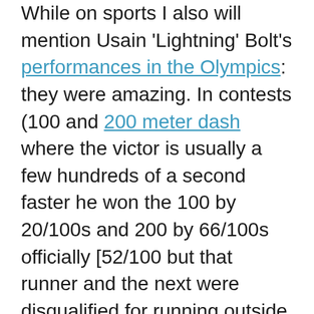While on sports I also will mention Usain 'Lightning' Bolt's performances in the Olympics: they were amazing. In contests (100 and 200 meter dash where the victor is usually a few hundreds of a second faster he won the 100 by 20/100s and 200 by 66/100s officially [52/100 but that runner and the next were disqualified for running outside of their lanes]). Both were new world records.

Both the margins of victor seem to be the greatest ever (some news reports have said so, at least one I ready said matched